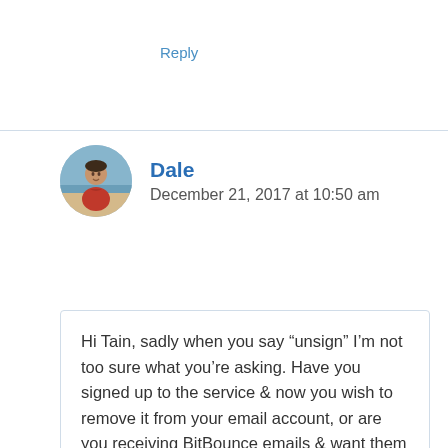Reply
[Figure (photo): Avatar photo of Dale, a man on a beach wearing a red shirt]
Dale
December 21, 2017 at 10:50 am
Hi Tain, sadly when you say “unsign” I’m not too sure what you’re asking. Have you signed up to the service & now you wish to remove it from your email account, or are you receiving BitBounce emails & want them to stop? Regarding the latter of the 2 as far as I’m aware you can’t stop